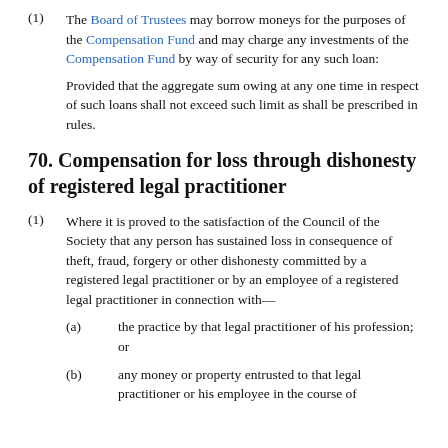(1) The Board of Trustees may borrow moneys for the purposes of the Compensation Fund and may charge any investments of the Compensation Fund by way of security for any such loan:

Provided that the aggregate sum owing at any one time in respect of such loans shall not exceed such limit as shall be prescribed in rules.
70. Compensation for loss through dishonesty of registered legal practitioner
(1) Where it is proved to the satisfaction of the Council of the Society that any person has sustained loss in consequence of theft, fraud, forgery or other dishonesty committed by a registered legal practitioner or by an employee of a registered legal practitioner in connection with—
(a) the practice by that legal practitioner of his profession; or
(b) any money or property entrusted to that legal practitioner or his employee in the course of